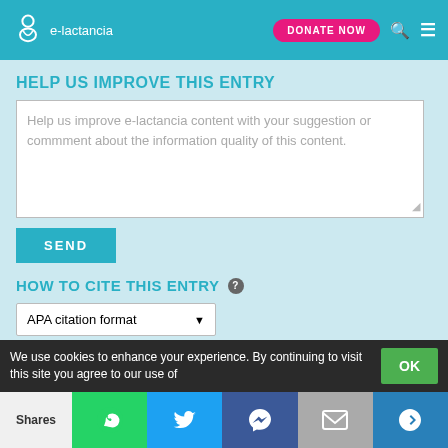e-lactancia
HELP US IMPROVE THIS ENTRY
Help us improve e-lactancia content with your suggestion or commment about the information quality of this content.
SEND
HOW TO CITE THIS ENTRY
APA citation format
Ibumac. At e-lactancia.org Retrieved 20 August,
We use cookies to enhance your experience. By continuing to visit this site you agree to our use of
Shares